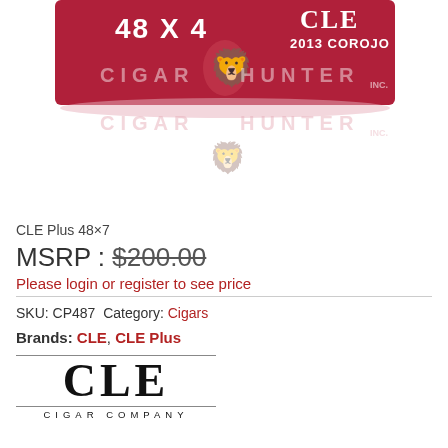[Figure (photo): CLE Plus 48x4 2013 Corojo cigar product banner image with Cigar Hunter Inc. logo. Red/crimson banner with white text and a lion crest graphic.]
CLE Plus 48×7
MSRP : $200.00
Please login or register to see price
SKU: CP487 Category: Cigars
Brands: CLE, CLE Plus
[Figure (logo): CLE Cigar Company logo — large serif CLE text between two horizontal lines, with 'CIGAR COMPANY' in small spaced caps below.]